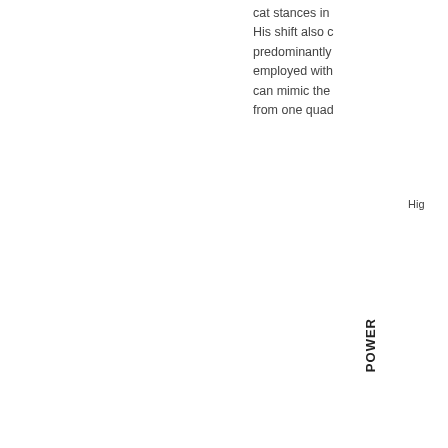cat stances in His shift also c predominantly employed with can mimic the from one quad
Hig
POWER